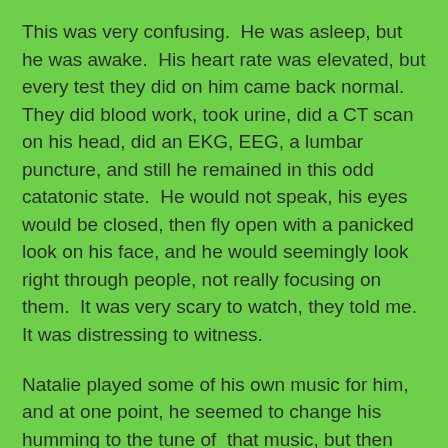This was very confusing.  He was asleep, but he was awake.  His heart rate was elevated, but every test they did on him came back normal.  They did blood work, took urine, did a CT scan on his head, did an EKG, EEG, a lumbar puncture, and still he remained in this odd catatonic state.  He would not speak, his eyes would be closed, then fly open with a panicked look on his face, and he would seemingly look right through people, not really focusing on them.  It was very scary to watch, they told me. It was distressing to witness.
Natalie played some of his own music for him, and at one point, he seemed to change his humming to the tune of that music, but then reverted back to the original tune.
Since he had an IV line in, they administered “adavan,”